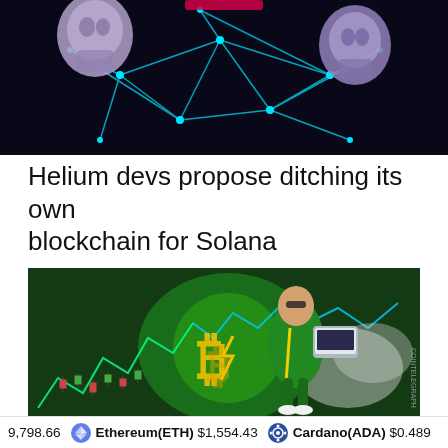[Figure (illustration): Blockchain network illustration with two robotic humanoid figures facing each other, connected by glowing neon blue network lines and nodes on a dark background]
Helium devs propose ditching its own blockchain for Solana
[Figure (illustration): Crypto trading illustration showing a superhero character in green outfit holding a laptop, with a large Bitcoin symbol glowing in the background, candlestick charts, and neon green line charts. COINTELEGRAPH watermark visible.]
9,798.66   Ethereum(ETH) $1,554.43   Cardano(ADA) $0.489